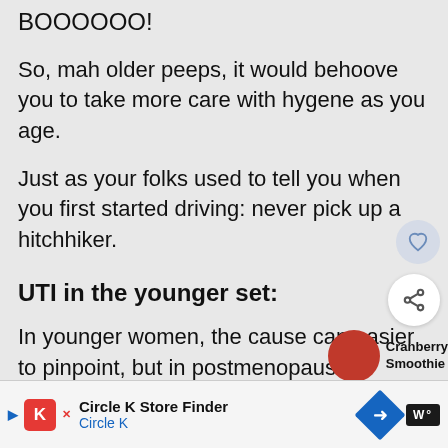BOOOOOO!
So, mah older peeps, it would behoove you to take more care with hygene as you age.
Just as your folks used to tell you when you first started driving: never pick up a hitchhiker.
UTI in the younger set:
In younger women, the cause can easier to pinpoint, but in postmenopausal
[Figure (other): Cranberry Smoothie thumbnail overlay image]
[Figure (other): Circle K Store Finder advertisement banner at bottom of page]